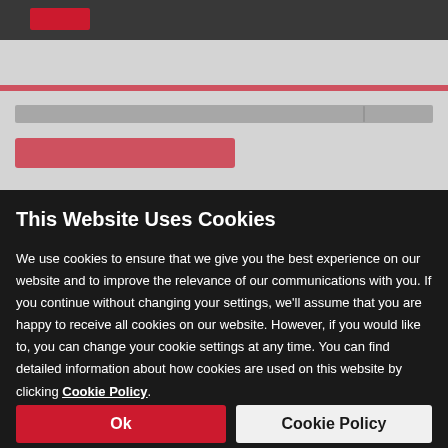[Figure (screenshot): Blurred website background showing a dark navigation bar with red logo, blurred product listing content, and a red horizontal bar]
This Website Uses Cookies
We use cookies to ensure that we give you the best experience on our website and to improve the relevance of our communications with you. If you continue without changing your settings, we'll assume that you are happy to receive all cookies on our website. However, if you would like to, you can change your cookie settings at any time. You can find detailed information about how cookies are used on this website by clicking Cookie Policy.
Ok
Cookie Policy